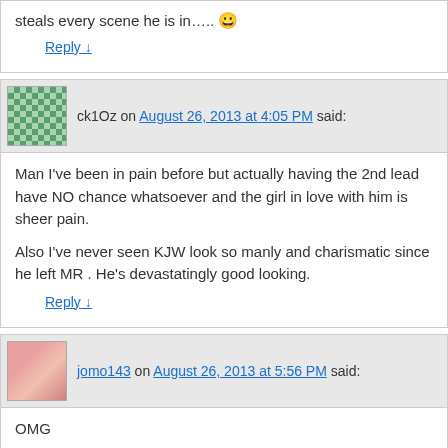steals every scene he is in….. 😀
Reply ↓
ck1Oz on August 26, 2013 at 4:05 PM said:
Man I've been in pain before but actually having the 2nd lead have NO chance whatsoever and the girl in love with him is sheer pain.

Also I've never seen KJW look so manly and charismatic since he left MR . He's devastatingly good looking.
Reply ↓
jomo143 on August 26, 2013 at 5:56 PM said:
OMG
In the uniform.
Holy sheet.
SO HOT.
I watched it several times.
And screen capped.